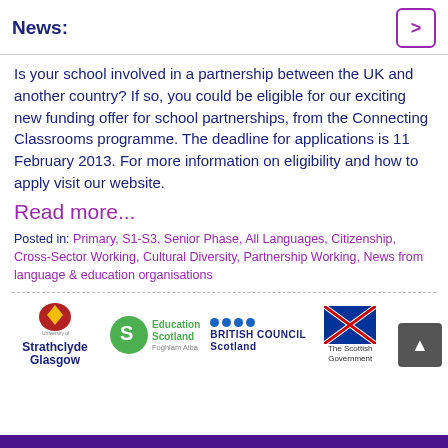News:
Is your school involved in a partnership between the UK and another country? If so, you could be eligible for our exciting new funding offer for school partnerships, from the Connecting Classrooms programme. The deadline for applications is 11 February 2013. For more information on eligibility and how to apply visit our website.
Read more...
Posted in: Primary, S1-S3, Senior Phase, All Languages, Citizenship, Cross-Sector Working, Cultural Diversity, Partnership Working, News from language & education organisations
[Figure (logo): Footer logos: University of Strathclyde Glasgow, Education Scotland Foghlam Alba, British Council Scotland, The Scottish Government]